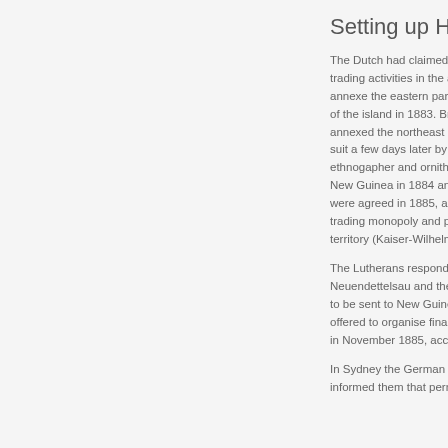Setting up Hopevale (1
The Dutch had claimed the western 
trading activities in the area increase
annexe the eastern part of the islan
of the island in 1883. Britain refused
annexed the northeast part of the isl
suit a few days later by establishing
ethnogapher and ornithologist Otto F
New Guinea in 1884 and 1885, the b
were agreed in 1885, and in 1886 th
trading monopoly and practically put
territory (Kaiser-Wilhelmsland and B
The Lutherans responded quickly to
Neuendettelsau and the South Austr
to be sent to New Guinea. He receiv
offered to organise finance from Ger
in November 1885, accompanied by
In Sydney the German Consul Gene
informed them that permission from